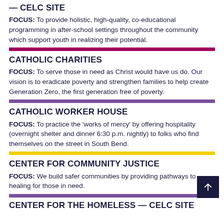— CELC SITE
FOCUS: To provide holistic, high-quality, co-educational programming in after-school settings throughout the community which support youth in realizing their potential.
CATHOLIC CHARITIES
FOCUS: To serve those in need as Christ would have us do. Our vision is to eradicate poverty and strengthen families to help create Generation Zero, the first generation free of poverty.
CATHOLIC WORKER HOUSE
FOCUS: To practice the 'works of mercy' by offering hospitality (overnight shelter and dinner 6:30 p.m. nightly) to folks who find themselves on the street in South Bend.
CENTER FOR COMMUNITY JUSTICE
FOCUS: We build safer communities by providing pathways to healing for those in need.
CENTER FOR THE HOMELESS — CELC SITE